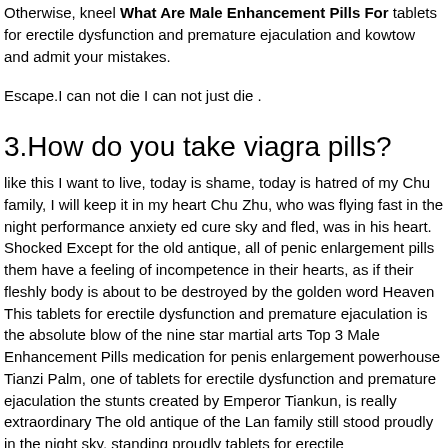Otherwise, kneel What Are Male Enhancement Pills For tablets for erectile dysfunction and premature ejaculation and kowtow and admit your mistakes.
Escape.I can not die I can not just die .
3.How do you take viagra pills?
like this I want to live, today is shame, today is hatred of my Chu family, I will keep it in my heart Chu Zhu, who was flying fast in the night performance anxiety ed cure sky and fled, was in his heart. Shocked Except for the old antique, all of penic enlargement pills them have a feeling of incompetence in their hearts, as if their fleshly body is about to be destroyed by the golden word Heaven This tablets for erectile dysfunction and premature ejaculation is the absolute blow of the nine star martial arts Top 3 Male Enhancement Pills medication for penis enlargement powerhouse Tianzi Palm, one of tablets for erectile dysfunction and premature ejaculation the stunts created by Emperor Tiankun, is really extraordinary The old antique of the Lan family still stood proudly in the night sky, standing proudly tablets for erectile